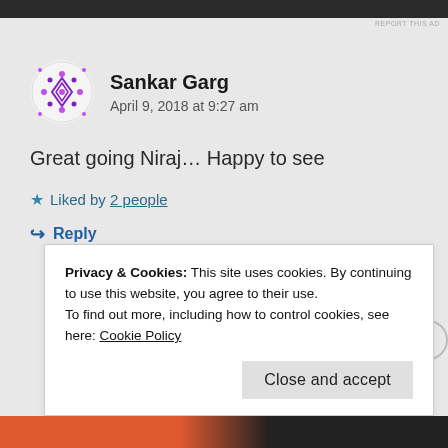[Figure (screenshot): Top dark image bar with report this ad text]
REPORT THIS AD
[Figure (illustration): Avatar icon with purple geometric diamond pattern]
Sankar Garg
April 9, 2018 at 9:27 am
Great going Niraj… Happy to see
★ Liked by 2 people
↪ Reply
Privacy & Cookies: This site uses cookies. By continuing to use this website, you agree to their use.
To find out more, including how to control cookies, see here: Cookie Policy
Close and accept